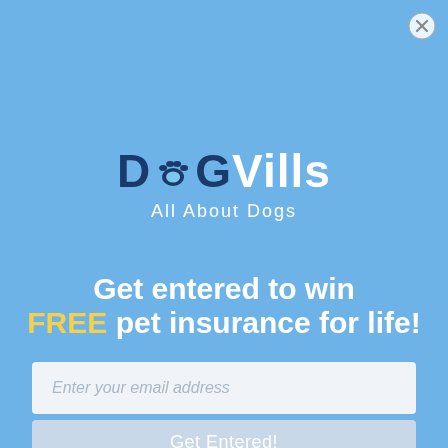[Figure (logo): DogVills logo with paw print icon replacing the 'o' in 'Dog', subtitle 'All About Dogs']
Get entered to win FREE pet insurance for life!
Enter your email address
Get Entered!